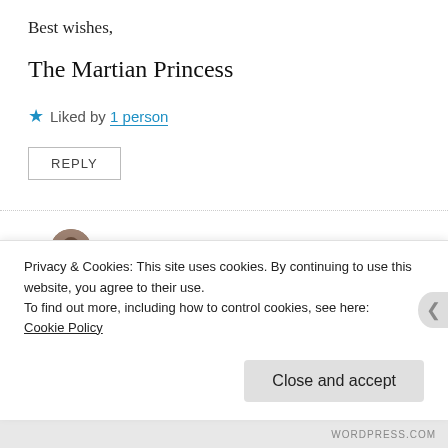Best wishes,
The Martian Princess
★ Liked by 1 person
REPLY
tlohuis
December 30, 2016 at 5:10 pm
Thank you. I'm really down right now. I'm so
Privacy & Cookies: This site uses cookies. By continuing to use this website, you agree to their use.
To find out more, including how to control cookies, see here:
Cookie Policy
Close and accept